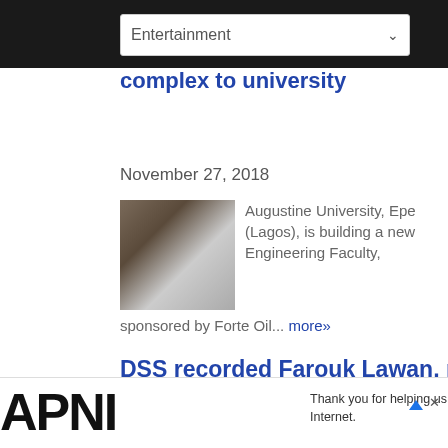Entertainment
complex to university
November 27, 2018
[Figure (photo): Photo of people at a ceremony]
Augustine University, Epe (Lagos), is building a new Engineering Faculty, sponsored by Forte Oil... more»
DSS recorded Farouk Lawan, provided the dollars – Otedola tells court in $3 m subsidy bribe case
APNIC — Thank you for helping us measure the Internet.